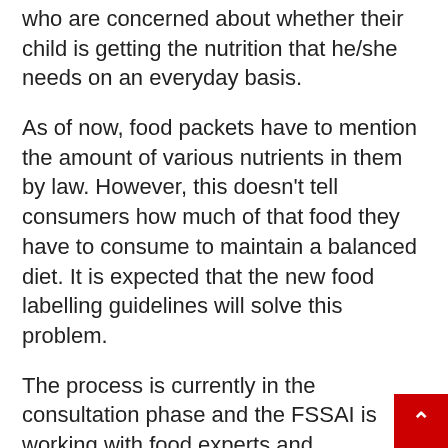who are concerned about whether their child is getting the nutrition that he/she needs on an everyday basis.
As of now, food packets have to mention the amount of various nutrients in them by law. However, this doesn't tell consumers how much of that food they have to consume to maintain a balanced diet. It is expected that the new food labelling guidelines will solve this problem.
The process is currently in the consultation phase and the FSSAI is working with food experts and nutritionists in order to get their inputs. Once this rule is passed, it will greatly empower consumers and will enable them to make an informed choice about what food they choose to consume and how it affects their health positively.
Share This Article With Friends